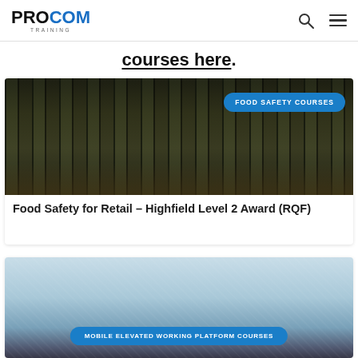PROCOM TRAINING
courses here.
[Figure (photo): Supermarket refrigerated aisle with glass-door freezer units, food safety courses badge overlay]
Food Safety for Retail – Highfield Level 2 Award (RQF)
[Figure (photo): Mobile elevated working platform courses, sky background with MEWP badge overlay]